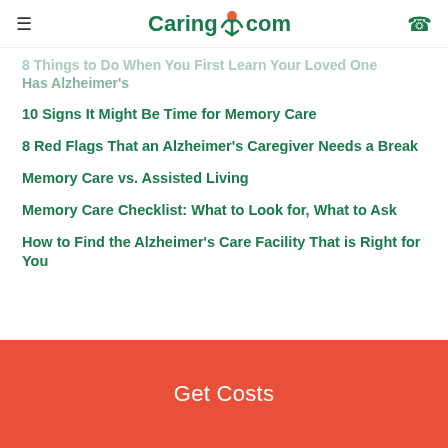Caring.com
8 Things to Do When You First Learn Your Loved One Has Alzheimer's
10 Signs It Might Be Time for Memory Care
8 Red Flags That an Alzheimer's Caregiver Needs a Break
Memory Care vs. Assisted Living
Memory Care Checklist: What to Look for, What to Ask
How to Find the Alzheimer's Care Facility That is Right for You
Get Costs